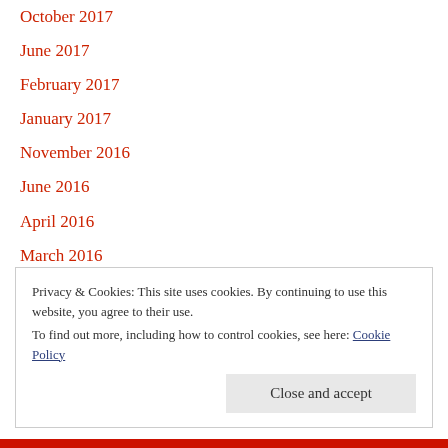October 2017
June 2017
February 2017
January 2017
November 2016
June 2016
April 2016
March 2016
Privacy & Cookies: This site uses cookies. By continuing to use this website, you agree to their use.
To find out more, including how to control cookies, see here: Cookie Policy
Close and accept